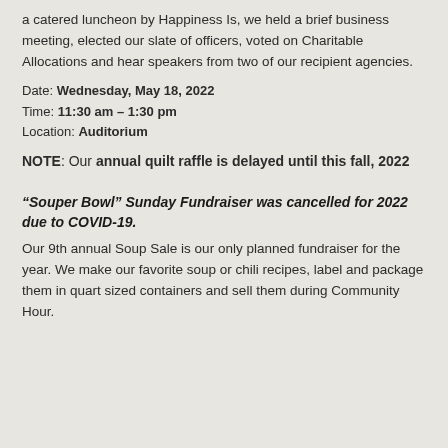a catered luncheon by Happiness Is, we held a brief business meeting, elected our slate of officers, voted on Charitable Allocations and hear speakers from two of our recipient agencies.
Date: Wednesday, May 18, 2022
Time: 11:30 am – 1:30 pm
Location: Auditorium
NOTE: Our annual quilt raffle is delayed until this fall, 2022
“Souper Bowl” Sunday Fundraiser was cancelled for 2022 due to COVID-19.
Our 9th annual Soup Sale is our only planned fundraiser for the year. We make our favorite soup or chili recipes, label and package them in quart sized containers and sell them during Community Hour.